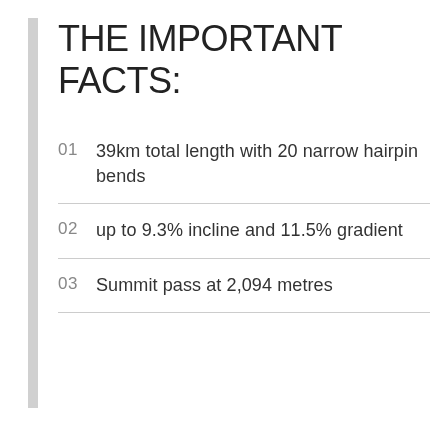THE IMPORTANT FACTS:
01  39km total length with 20 narrow hairpin bends
02  up to 9.3% incline and 11.5% gradient
03  Summit pass at 2,094 metres